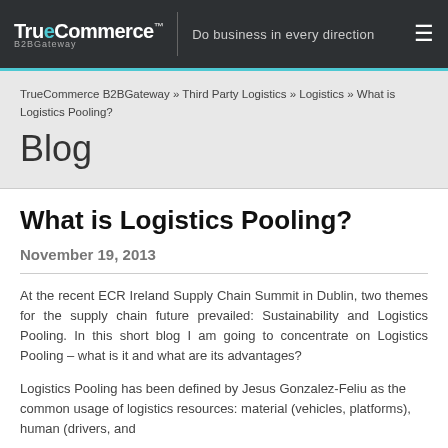TrueCommerce B2BGateway — Do business in every direction
TrueCommerce B2BGateway » Third Party Logistics » Logistics » What is Logistics Pooling?
Blog
What is Logistics Pooling?
November 19, 2013
At the recent ECR Ireland Supply Chain Summit in Dublin, two themes for the supply chain future prevailed: Sustainability and Logistics Pooling. In this short blog I am going to concentrate on Logistics Pooling – what is it and what are its advantages?
Logistics Pooling has been defined by Jesus Gonzalez-Feliu as the common usage of logistics resources: material (vehicles, platforms), human (drivers, and